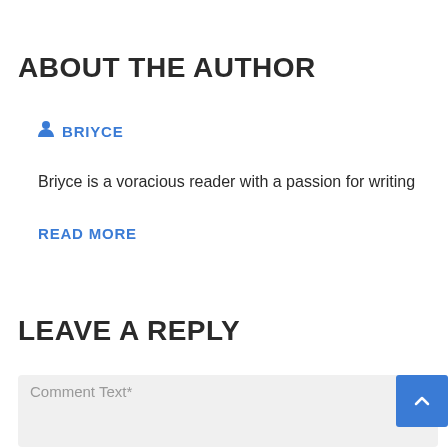ABOUT THE AUTHOR
BRIYCE
Briyce is a voracious reader with a passion for writing
READ MORE
LEAVE A REPLY
Comment Text*